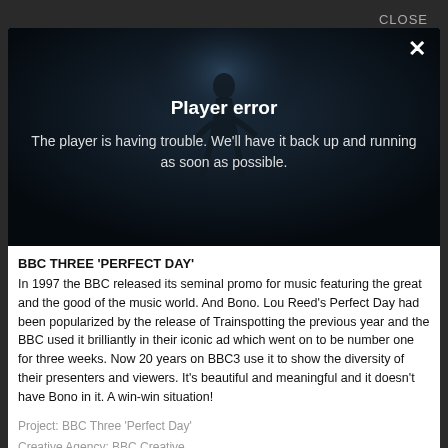CLOSE
[Figure (screenshot): Video player area showing a dark background with a dancer figure, displaying a Player error message overlay. An X close button is in the top right. The error message reads: Player error - The player is having trouble. We'll have it back up and running as soon as possible.]
BBC THREE 'PERFECT DAY'
In 1997 the BBC released its seminal promo for music featuring the great and the good of the music world. And Bono. Lou Reed's Perfect Day had been popularized by the release of Trainspotting the previous year and the BBC used it brilliantly in their iconic ad which went on to be number one for three weeks. Now 20 years on BBC3 use it to show the diversity of their presenters and viewers. It's beautiful and meaningful and it doesn't have Bono in it. A win-win situation!
Project: BBC Three 'Perfect Day'
Creative Agency: BBC Creative
Production Company: Pulse Films
Production Company Producer: Rachel Roberts & Alistair Payne-